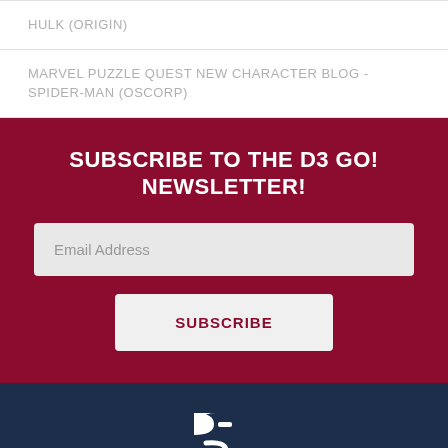HULK (ORIGIN)
MARVEL PUZZLE QUEST NEW CHARACTER BLOG - SPIDER-MAN (OSCORP)
SUBSCRIBE TO THE D3 GO! NEWSLETTER!
[Figure (logo): D3 Go! logo in white on navy background]